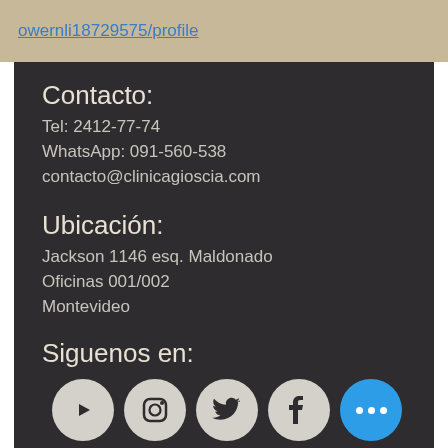owernli18729575/profile
Contacto:
Tel: 2412-77-74
WhatsApp: 091-560-538
contacto@clinicagioscia.com
Ubicación:
Jackson 1146 esq. Maldonado
Oficinas 001/002
Montevideo
Siguenos en:
[Figure (other): Row of four social media icon circles (YouTube, Instagram, Twitter, Facebook) in light gray, plus a blue 'more' button with three dots]